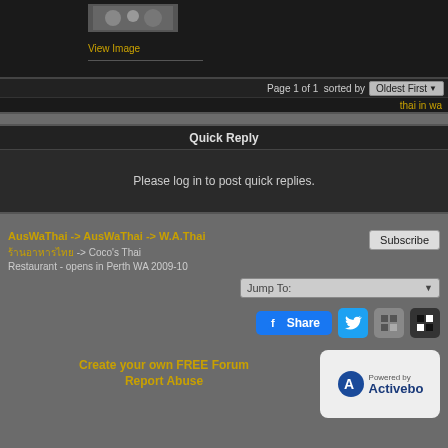[Figure (screenshot): Top dark panel showing a thumbnail image and View Image link with separator line]
Page 1 of 1  sorted by  Oldest First
thai in wa
Quick Reply
Please log in to post quick replies.
AusWaThai -> AusWaThai -> W.A.Thai
ร้านอาหารไทย -> Coco's Thai Restaurant - opens in Perth WA 2009-10
Subscribe
Jump To:
Share
Create your own FREE Forum
Report Abuse
[Figure (logo): Powered by Activebo logo badge]